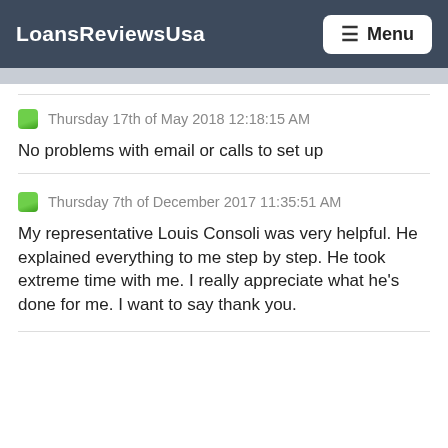LoansReviewsUsa  Menu
Thursday 17th of May 2018 12:18:15 AM
No problems with email or calls to set up
Thursday 7th of December 2017 11:35:51 AM
My representative Louis Consoli was very helpful. He explained everything to me step by step. He took extreme time with me. I really appreciate what he's done for me. I want to say thank you.